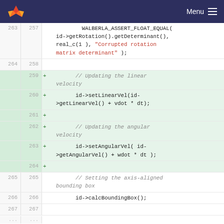Menu
[Figure (screenshot): GitLab-style code diff viewer showing lines 257-267 of source code. Lines 259-264 are highlighted green as added lines with '+' markers. Code includes WALBERLA_ASSERT_FLOAT_EQUAL, setLinearVel, setAngularVel, and calcBoundingBox calls.]